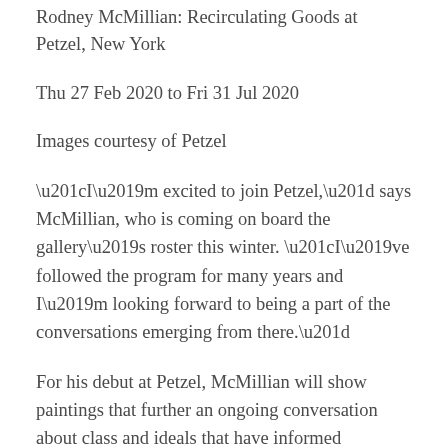Rodney McMillian: Recirculating Goods at Petzel, New York
Thu 27 Feb 2020 to Fri 31 Jul 2020
Images courtesy of Petzel
“I’m excited to join Petzel,” says McMillian, who is coming on board the gallery’s roster this winter. “I’ve followed the program for many years and I’m looking forward to being a part of the conversations emerging from there.”
For his debut at Petzel, McMillian will show paintings that further an ongoing conversation about class and ideals that have informed American landscape painting. These works are made primarily on blankets